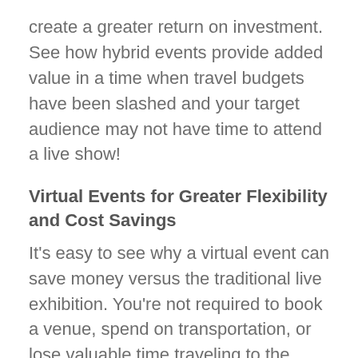create a greater return on investment. See how hybrid events provide added value in a time when travel budgets have been slashed and your target audience may not have time to attend a live show!
Virtual Events for Greater Flexibility and Cost Savings
It's easy to see why a virtual event can save money versus the traditional live exhibition. You're not required to book a venue, spend on transportation, or lose valuable time traveling to the destination and back again. And customers who are also short on time and